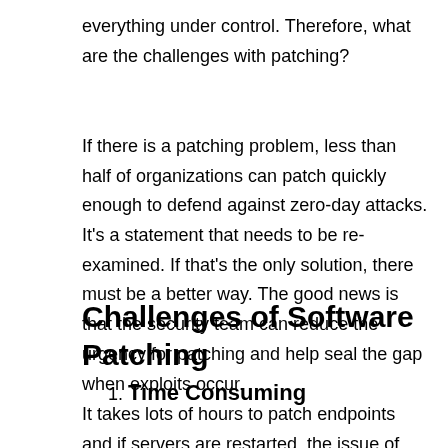everything under control. Therefore, what are the challenges with patching?
If there is a patching problem, less than half of organizations can patch quickly enough to defend against zero-day attacks. It's a statement that needs to be re-examined. If that's the only solution, there must be a better way. The good news is that the security team can reduce the urgency for patching and help seal the gap when exploits occur.
Challenges of Software Patching
1. Time Consuming
It takes lots of hours to patch endpoints and if servers are restarted, the issue of business downtime will occur. Many